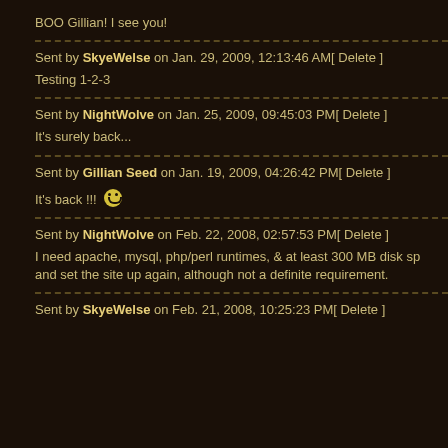BOO Gillian! I see you!
Sent by SkyeWelse on Jan. 29, 2009, 12:13:46 AM[ Delete ]
Testing 1-2-3
Sent by NightWolve on Jan. 25, 2009, 09:45:03 PM[ Delete ]
It's surely back...
Sent by Gillian Seed on Jan. 19, 2009, 04:26:42 PM[ Delete ]
It's back !!! 😊
Sent by NightWolve on Feb. 22, 2008, 02:57:53 PM[ Delete ]
I need apache, mysql, php/perl runtimes, & at least 300 MB disk sp... and set the site up again, although not a definite requirement.
Sent by SkyeWelse on Feb. 21, 2008, 10:25:23 PM[ Delete ]